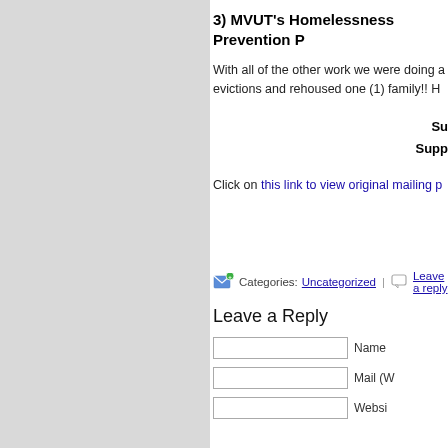3) MVUT's Homelessness Prevention P...
With all of the other work we were doing ... evictions and rehoused one (1) family!! H...
Su...
Supp...
Click on this link to view original mailing p...
Categories: Uncategorized | Leave a reply
Leave a Reply
Name
Mail (W...
Websi...